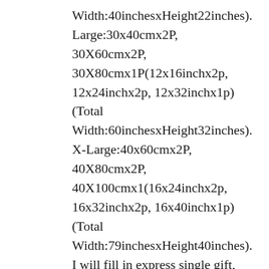Width:40inchesxHeight22inches). Large:30x40cmx2P, 30X60cmx2P, 30X80cmx1P(12x16inchx2p, 12x24inchx2p, 12x32inchx1p) (Total Width:60inchesxHeight32inches). X-Large:40x60cmx2P, 40X80cmx2P, 40X100cmx1(16x24inchx2p, 16x32inchx2p, 16x40inchx1p) (Total Width:79inchesxHeight40inches). I will fill in express single gift, can reduce tariffs for you to save cost. If you have special requirement, please contact me. Please take into account that this does not include Saturday, Sunday and Bank Holidays. Please ensure that boxes are not crushed and it would be advisable to have proof of posting. We aim to give you an easy, hassle free shopping experience. We regret we cannot resolve any issues once negative or neutral feedback has been